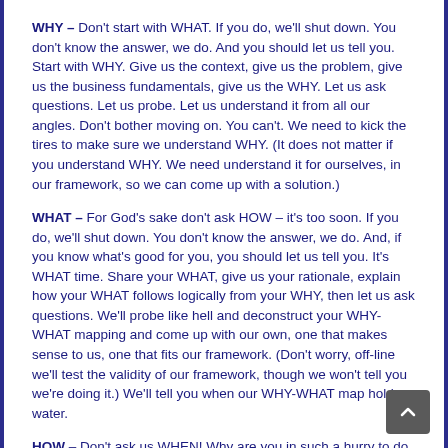WHY – Don't start with WHAT. If you do, we'll shut down. You don't know the answer, we do. And you should let us tell you. Start with WHY. Give us the context, give us the problem, give us the business fundamentals, give us the WHY. Let us ask questions. Let us probe. Let us understand it from all our angles. Don't bother moving on. You can't. We need to kick the tires to make sure we understand WHY. (It does not matter if you understand WHY. We need understand it for ourselves, in our framework, so we can come up with a solution.)
WHAT – For God's sake don't ask HOW – it's too soon. If you do, we'll shut down. You don't know the answer, we do. And, if you know what's good for you, you should let us tell you. It's WHAT time. Share your WHAT, give us your rationale, explain how your WHAT follows logically from your WHY, then let us ask questions. We'll probe like hell and deconstruct your WHY-WHAT mapping and come up with our own, one that makes sense to us, one that fits our framework. (Don't worry, off-line we'll test the validity of our framework, though we won't tell you we're doing it.) We'll tell you when our WHY-WHAT map holds water.
HOW – Don't ask us WHEN! Why are you in such a hurry to do